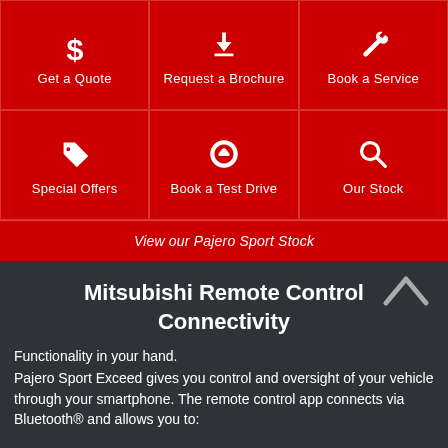[Figure (infographic): 3x2 red grid of navigation buttons: Get a Quote (dollar sign icon), Request a Brochure (download icon), Book a Service (wrench icon), Special Offers (tag icon), Book a Test Drive (steering wheel icon), Our Stock (search icon)]
View our Pajero Sport Stock
Mitsubishi Remote Control Connectivity
Functionality in your hand.
Pajero Sport Exceed gives you control and oversight of your vehicle through your smartphone. The remote control app connects via Bluetooth® and allows you to: